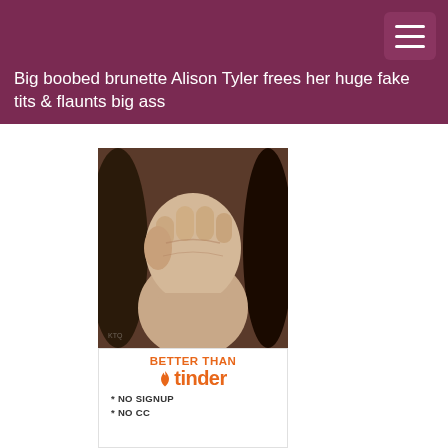Big boobed brunette Alison Tyler frees her huge fake tits & flaunts big ass
[Figure (photo): Close-up photo of a woman's hand and dark hair against a dark background]
[Figure (infographic): Advertisement graphic reading 'BETTER THAN tinder * NO SIGNUP * NO CC']